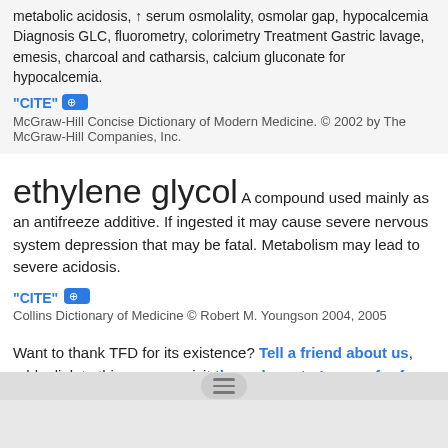metabolic acidosis, ↑ serum osmolality, osmolar gap, hypocalcemia Diagnosis GLC, fluorometry, colorimetry Treatment Gastric lavage, emesis, charcoal and catharsis, calcium gluconate for hypocalcemia.
"CITE" [link] McGraw-Hill Concise Dictionary of Modern Medicine. © 2002 by The McGraw-Hill Companies, Inc.
ethylene glycol
A compound used mainly as an antifreeze additive. If ingested it may cause severe nervous system depression that may be fatal. Metabolism may lead to severe acidosis.
"CITE" [link] Collins Dictionary of Medicine © Robert M. Youngson 2004, 2005
Want to thank TFD for its existence? Tell a friend about us, add a link to this page, or visit the webmaster's page for free fun content.
Link to this page: